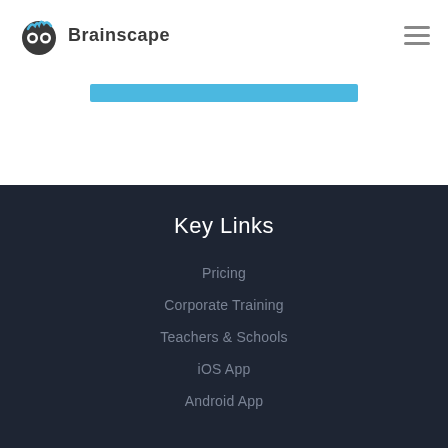Brainscape
[Figure (other): Blue horizontal progress bar or search bar element]
Key Links
Pricing
Corporate Training
Teachers & Schools
iOS App
Android App